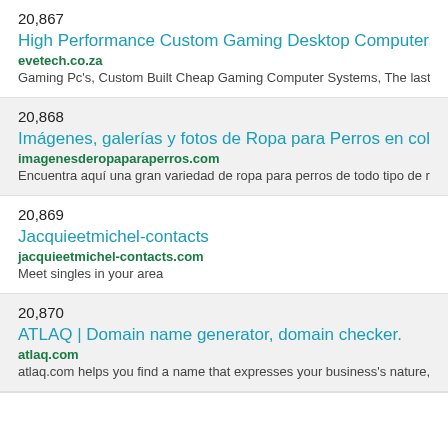20,867
High Performance Custom Gaming Desktop Computers, I…
evetech.co.za
Gaming Pc's, Custom Built Cheap Gaming Computer Systems, The lastes…
20,868
Imágenes, galerías y fotos de Ropa para Perros en coleco…
imagenesderopaparaperros.com
Encuentra aquí una gran variedad de ropa para perros de todo tipo de ra…
20,869
Jacquieetmichel-contacts
jacquieetmichel-contacts.com
Meet singles in your area
20,870
ATLAQ | Domain name generator, domain checker.
atlaq.com
atlaq.com helps you find a name that expresses your business's nature,…